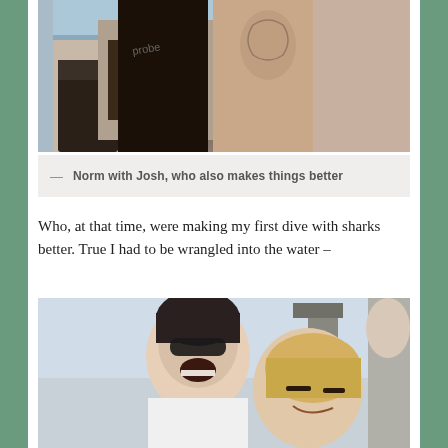[Figure (photo): Close-up photo of people in wetsuits, showing legs/torso area. One person wearing a black wetsuit with 'probe' brand visible, another person with a tattoo visible on their upper arm.]
— Norm with Josh, who also makes things better
Who, at that time, were making my first dive with sharks better. True I had to be wrangled into the water –
[Figure (photo): Photo of two women laughing together on what appears to be a boat. One woman has dark hair and sunglasses, the other is blonde. A man in a grey shirt is partially visible in the background.]